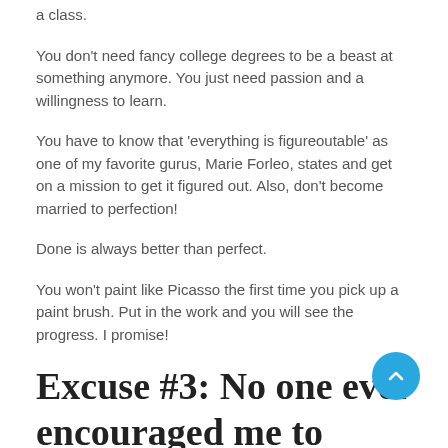a class.
You don't need fancy college degrees to be a beast at something anymore. You just need passion and a willingness to learn.
You have to know that 'everything is figureoutable' as one of my favorite gurus, Marie Forleo, states and get on a mission to get it figured out. Also, don't become married to perfection!
Done is always better than perfect.
You won't paint like Picasso the first time you pick up a paint brush. Put in the work and you will see the progress. I promise!
Excuse #3: No one ever encouraged me to follow my dreams.
I get it. Having a lack of moral support or a team of people who are rooting for your success may make you feel discouraged at